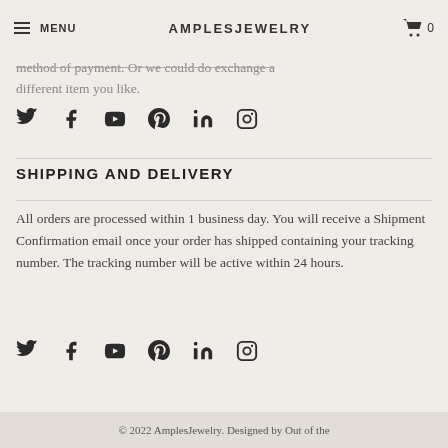MENU  AMPLESJEWELRY  0
method of payment. Or we could do exchange a different item you like.
[Figure (infographic): Row of social media icons: Twitter, Facebook, YouTube, Pinterest, LinkedIn, Instagram]
SHIPPING AND DELIVERY
All orders are processed within 1 business day. You will receive a Shipment Confirmation email once your order has shipped containing your tracking number. The tracking number will be active within 24 hours.
[Figure (infographic): Row of social media icons: Twitter, Facebook, YouTube, Pinterest, LinkedIn, Instagram]
© 2022 AmplesJewelry. Designed by Out of the